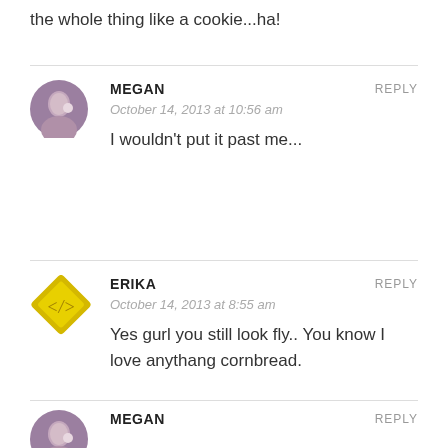the whole thing like a cookie...ha!
MEGAN
October 14, 2013 at 10:56 am
I wouldn't put it past me...
REPLY
ERIKA
October 14, 2013 at 8:55 am
Yes gurl you still look fly.. You know I love anythang cornbread.
REPLY
MEGAN
REPLY